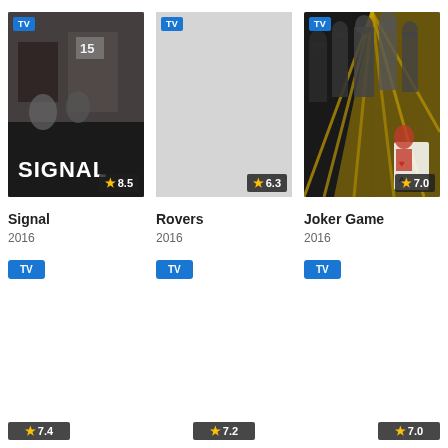[Figure (screenshot): TV show card for Signal (2016) with rating 8.5, dark photographic poster with 'SIGNAL' text]
[Figure (screenshot): TV show card for Rovers (2016) with rating 6.3, mostly blank/light poster]
[Figure (screenshot): TV show card for Joker Game (2016) with rating 7.0, anime-style poster with yellow/dark tones]
Signal
2016
TV
Rovers
2016
TV
Joker Game
2016
TV
★7.4
★7.2
★7.0